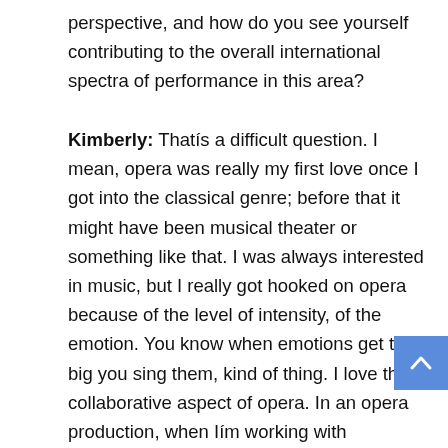perspective, and how do you see yourself contributing to the overall international spectra of performance in this area?
Kimberly: Thatís a difficult question. I mean, opera was really my first love once I got into the classical genre; before that it might have been musical theater or something like that. I was always interested in music, but I really got hooked on opera because of the level of intensity, of the emotion. You know when emotions get too big you sing them, kind of thing. I love the collaborative aspect of opera. In an opera production, when Iím working with colleagues that I love, with directors who are really questing to say something interesting, with